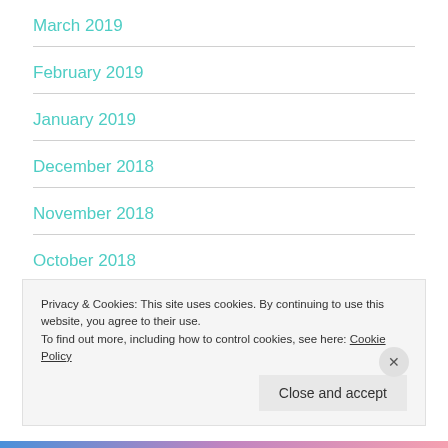March 2019
February 2019
January 2019
December 2018
November 2018
October 2018
Privacy & Cookies: This site uses cookies. By continuing to use this website, you agree to their use.
To find out more, including how to control cookies, see here: Cookie Policy
Close and accept